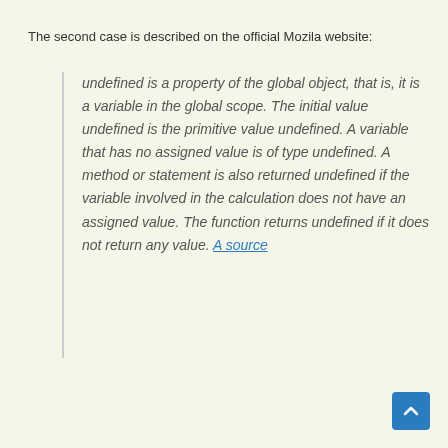The second case is described on the official Mozila website:
undefined is a property of the global object, that is, it is a variable in the global scope. The initial value undefined is the primitive value undefined. A variable that has no assigned value is of type undefined. A method or statement is also returned undefined if the variable involved in the calculation does not have an assigned value. The function returns undefined if it does not return any value. A source